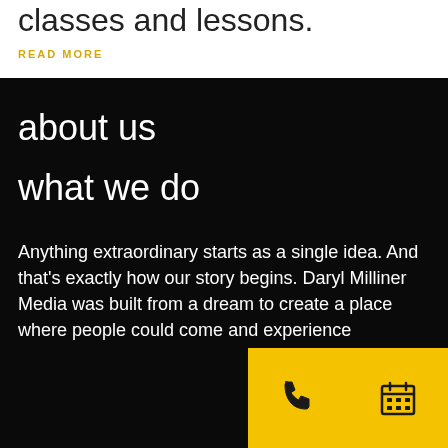classes and lessons.
READ MORE
about us
what we do
Anything extraordinary starts as a single idea. And that's exactly how our story begins. Daryl Milliner Media was built from a dream to create a place where people could come and experience